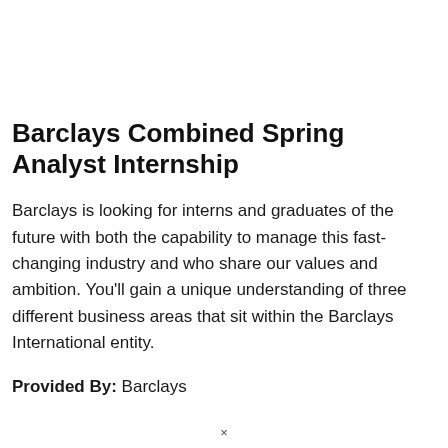Barclays Combined Spring Analyst Internship
Barclays is looking for interns and graduates of the future with both the capability to manage this fast-changing industry and who share our values and ambition. You'll gain a unique understanding of three different business areas that sit within the Barclays International entity.
Provided By: Barclays